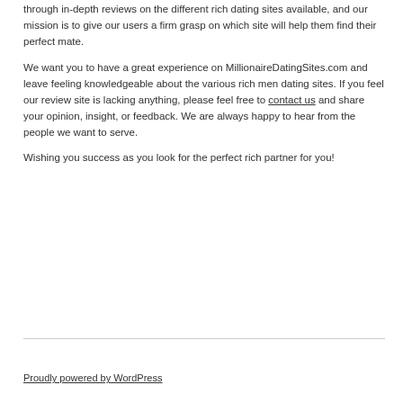through in-depth reviews on the different rich dating sites available, and our mission is to give our users a firm grasp on which site will help them find their perfect mate.
We want you to have a great experience on MillionaireDatingSites.com and leave feeling knowledgeable about the various rich men dating sites. If you feel our review site is lacking anything, please feel free to contact us and share your opinion, insight, or feedback. We are always happy to hear from the people we want to serve.
Wishing you success as you look for the perfect rich partner for you!
Proudly powered by WordPress